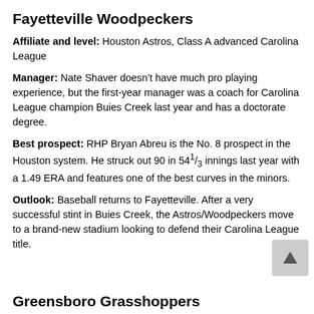Fayetteville Woodpeckers
Affiliate and level: Houston Astros, Class A advanced Carolina League
Manager: Nate Shaver doesn't have much pro playing experience, but the first-year manager was a coach for Carolina League champion Buies Creek last year and has a doctorate degree.
Best prospect: RHP Bryan Abreu is the No. 8 prospect in the Houston system. He struck out 90 in 54⅓ innings last year with a 1.49 ERA and features one of the best curves in the minors.
Outlook: Baseball returns to Fayetteville. After a very successful stint in Buies Creek, the Astros/Woodpeckers move to a brand-new stadium looking to defend their Carolina League title.
Greensboro Grasshoppers